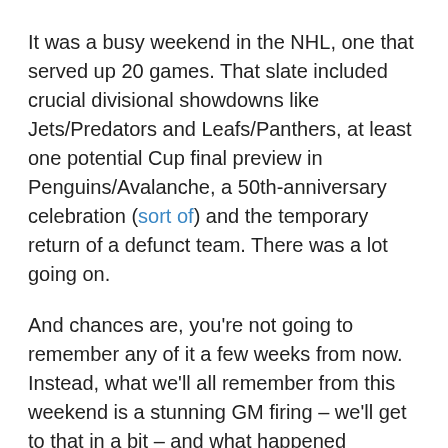It was a busy weekend in the NHL, one that served up 20 games. That slate included crucial divisional showdowns like Jets/Predators and Leafs/Panthers, at least one potential Cup final preview in Penguins/Avalanche, a 50th-anniversary celebration (sort of) and the temporary return of a defunct team. There was a lot going on.
And chances are, you're not going to remember any of it a few weeks from now. Instead, what we'll all remember from this weekend is a stunning GM firing – we'll get to that in a bit – and what happened between the Oilers and Flames on Saturday night.
The Battle of Alberta is back. Or at least it was, for one game.
If you somehow missed it, let's recap. It won't surprise you to learn that Mathew Tkachuk was in the middle of it, as he always seems to be. On this night, he locked in a big target in Zack Kassian, drilling the Oilers' winger with three big hits. The hardest of those knocked Kassian's helmet flying and sent him spinning to the ice.